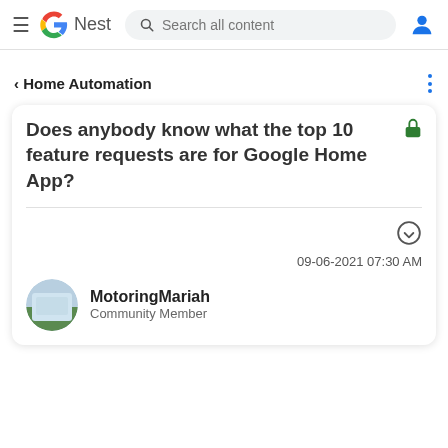Google Nest — Search all content
< Home Automation
Does anybody know what the top 10 feature requests are for Google Home App?
09-06-2021 07:30 AM
MotoringMariah
Community Member